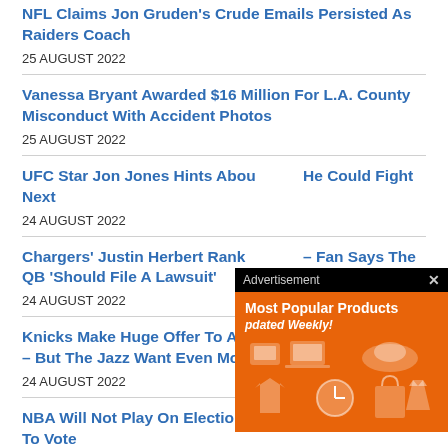NFL Claims Jon Gruden's Crude Emails Persisted As Raiders Coach
25 AUGUST 2022
Vanessa Bryant Awarded $16 Million For L.A. County Misconduct With Accident Photos
25 AUGUST 2022
UFC Star Jon Jones Hints About He Could Fight Next
24 AUGUST 2022
Chargers' Justin Herbert Ranked – Fan Says The QB 'Should File A Lawsuit'
24 AUGUST 2022
Knicks Make Huge Offer To Acquire Donovan Mitchell – But The Jazz Want Even More
24 AUGUST 2022
NBA Will Not Play On Election Day, Encouraging Fans To Vote
[Figure (screenshot): Advertisement overlay showing 'Most Popular Products Updated Weekly!' on an orange background with product icons]